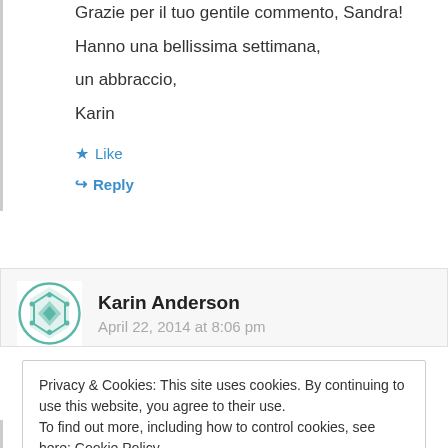Grazie per il tuo gentile commento, Sandra!
Hanno una bellissima settimana,
un abbraccio,
Karin
★ Like
↪ Reply
Karin Anderson
April 22, 2014 at 8:06 pm
Privacy & Cookies: This site uses cookies. By continuing to use this website, you agree to their use.
To find out more, including how to control cookies, see here: Cookie Policy
Close and accept
sehr gut. Nun muss ich mir nur überlegen, was ich